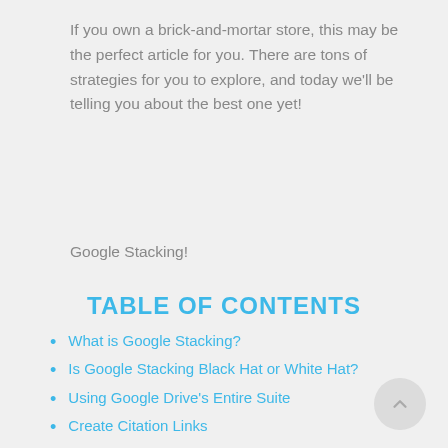If you own a brick-and-mortar store, this may be the perfect article for you. There are tons of strategies for you to explore, and today we'll be telling you about the best one yet!
Google Stacking!
TABLE OF CONTENTS
What is Google Stacking?
Is Google Stacking Black Hat or White Hat?
Using Google Drive's Entire Suite
Create Citation Links
Create a Custom MyMap
Guest Posting on Cloud Platforms
Final Words